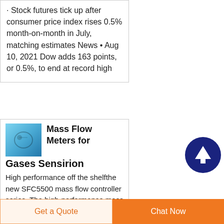· Stock futures tick up after consumer price index rises 0.5% month-on-month in July, matching estimates News • Aug 10, 2021 Dow adds 163 points, or 0.5%, to end at record high
Mass Flow Meters for Gases Sensirion
High performance off the shelfthe new SFC5500 mass flow controller series. The high-performance mass flow controller is calibrated for
[Figure (photo): Blue product thumbnail image for Mass Flow Meters]
[Figure (other): Dark blue circular scroll-to-top button with white upward arrow]
Get a Quote
Chat Now